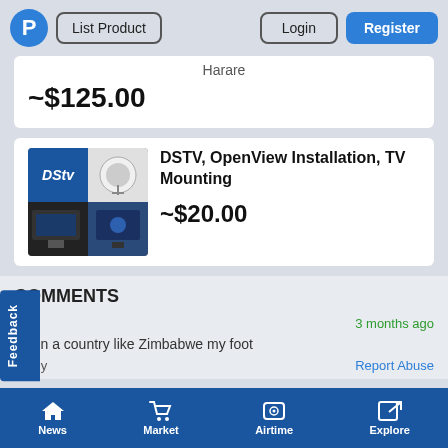P | List Product | Login | Register
Harare
~$125.00
[Figure (photo): DSTV and satellite dish product listing thumbnail image]
DSTV, OpenView Installation, TV Mounting
~$20.00
COMMENTS
alif
3 months ago
not in a country like Zimbabwe my foot
Reply
Report Abuse
News | Market | Airtime | Explore